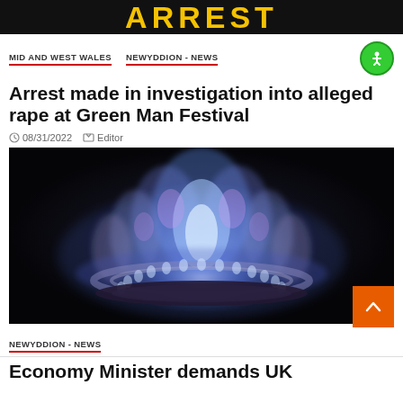ARREST
MID AND WEST WALES   NEWYDDION - NEWS
Arrest made in investigation into alleged rape at Green Man Festival
08/31/2022   Editor
[Figure (photo): Close-up photo of a circular gas burner lit with blue and purple flames against a dark background]
NEWYDDION - NEWS
Economy Minister demands UK